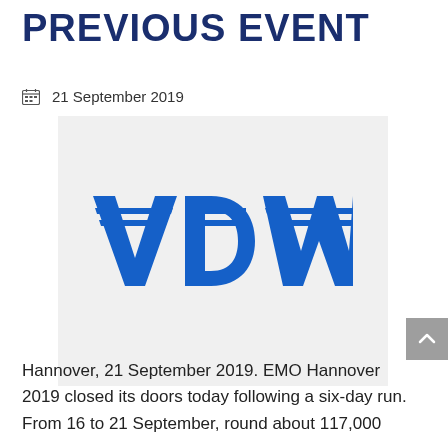PREVIOUS EVENT
📅 21 September 2019
[Figure (logo): VDW logo in blue with horizontal stripe lines through the letters V, D, W on a light grey background]
Hannover, 21 September 2019. EMO Hannover 2019 closed its doors today following a six-day run. From 16 to 21 September, round about 117,000